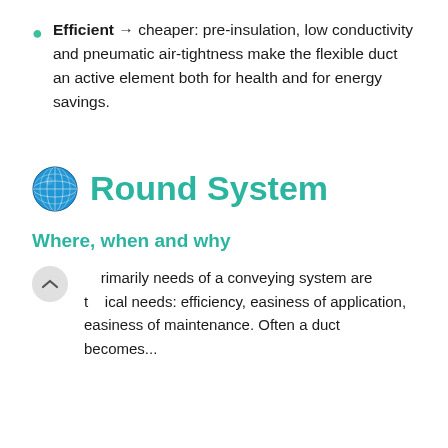Efficient → cheaper: pre-insulation, low conductivity and pneumatic air-tightness make the flexible duct an active element both for health and for energy savings.
🌐 Round System
Where, when and why
The primarily needs of a conveying system are technical needs: efficiency, easiness of application, easiness of maintenance. Often a duct becomes...